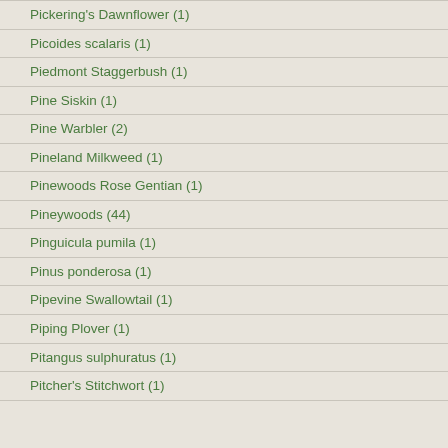Pickering's Dawnflower (1)
Picoides scalaris (1)
Piedmont Staggerbush (1)
Pine Siskin (1)
Pine Warbler (2)
Pineland Milkweed (1)
Pinewoods Rose Gentian (1)
Pineywoods (44)
Pinguicula pumila (1)
Pinus ponderosa (1)
Pipevine Swallowtail (1)
Piping Plover (1)
Pitangus sulphuratus (1)
Pitcher's Stitchwort (1)